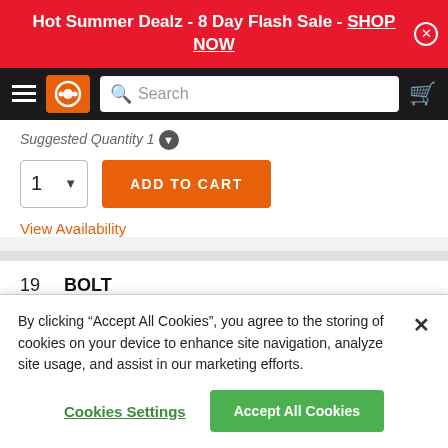Hot Summer Dealz - 8 Day Flash Sale - SHOP NOW
[Figure (screenshot): Navigation bar with hamburger menu, orange logo, search bar, and cart icon]
Suggested Quantity 1
1  ADD TO CART
View Availability
19  BOLT
90101-12673-00
By clicking "Accept All Cookies", you agree to the storing of cookies on your device to enhance site navigation, analyze site usage, and assist in our marketing efforts.
Cookies Settings  Accept All Cookies